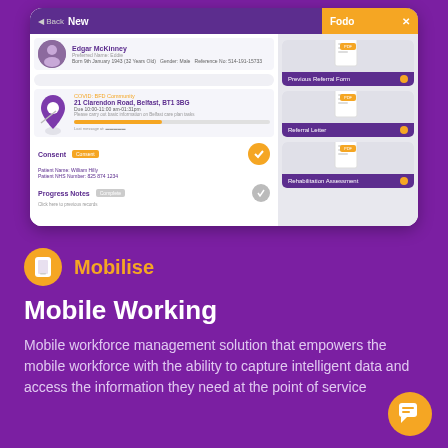[Figure (screenshot): Mobile app screenshot showing a patient record for Edgar McKinney with a Fodo panel on the right displaying document types: Previous Referral Form, Referral Letter, and Rehabilitation Assessment. The main panel shows an appointment at 21 Clarendon Road, Belfast, BT1 3BG, consent section, and progress notes.]
[Figure (logo): Mobilise orange circular icon with a mobile device symbol]
Mobile Working
Mobile workforce management solution that empowers the mobile workforce with the ability to capture intelligent data and access the information they need at the point of service